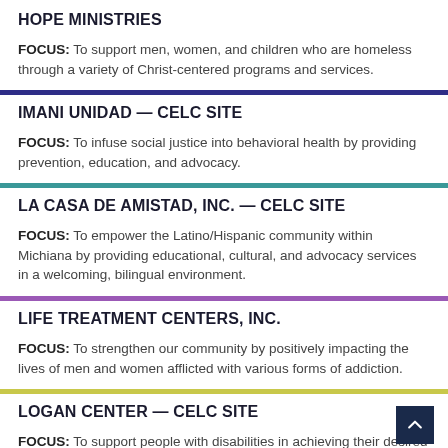HOPE MINISTRIES
FOCUS: To support men, women, and children who are homeless through a variety of Christ-centered programs and services.
IMANI UNIDAD — CELC SITE
FOCUS: To infuse social justice into behavioral health by providing prevention, education, and advocacy.
LA CASA DE AMISTAD, INC. — CELC SITE
FOCUS: To empower the Latino/Hispanic community within Michiana by providing educational, cultural, and advocacy services in a welcoming, bilingual environment.
LIFE TREATMENT CENTERS, INC.
FOCUS: To strengthen our community by positively impacting the lives of men and women afflicted with various forms of addiction.
LOGAN CENTER — CELC SITE
FOCUS: To support people with disabilities in achieving their desired